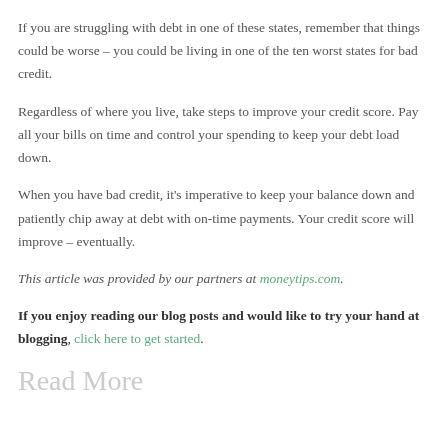If you are struggling with debt in one of these states, remember that things could be worse – you could be living in one of the ten worst states for bad credit.
Regardless of where you live, take steps to improve your credit score. Pay all your bills on time and control your spending to keep your debt load down.
When you have bad credit, it's imperative to keep your balance down and patiently chip away at debt with on-time payments. Your credit score will improve – eventually.
This article was provided by our partners at moneytips.com.
If you enjoy reading our blog posts and would like to try your hand at blogging, click here to get started.
Read More